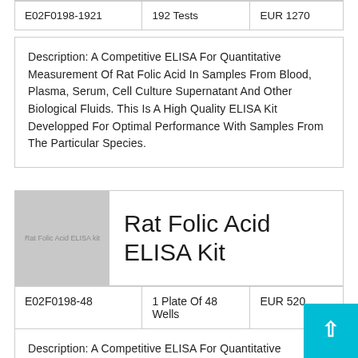| Code | Quantity | Price |
| --- | --- | --- |
| E02F0198-1921 | 192 Tests | EUR 1270 |
Description: A Competitive ELISA For Quantitative Measurement Of Rat Folic Acid In Samples From Blood, Plasma, Serum, Cell Culture Supernatant And Other Biological Fluids. This Is A High Quality ELISA Kit Developped For Optimal Performance With Samples From The Particular Species.
[Figure (photo): Product image placeholder for Rat Folic Acid ELISA Kit showing grey box with label text]
Rat Folic Acid ELISA Kit
| Code | Quantity | Price |
| --- | --- | --- |
| E02F0198-48 | 1 Plate Of 48 Wells | EUR 520 |
Description: A Competitive ELISA For Quantitative Measurement Of Rat Folic Acid In Samples From Blood, Plasma, Serum, Cell Culture Supernatant And Other Biological Fluids. This Is A High Quality